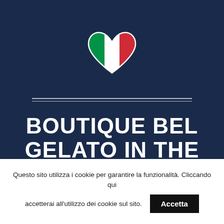[Figure (logo): Italian flag heart icon on dark navy background with double horizontal divider lines below]
BOUTIQUE BEL GELATO IN THE
Questo sito utilizza i cookie per garantire la funzionalità. Cliccando qui accetterai all'utilizzo dei cookie sul sito.
Accetta